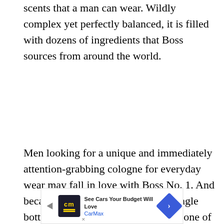scents that a man can wear. Wildly complex yet perfectly balanced, it is filled with dozens of ingredients that Boss sources from around the world.
Men looking for a unique and immediately attention-grabbing cologne for everyday wear may fall in love with Boss No. 1. And because of its relative intensity, a single bottle goes a long way — making it one of the most reasonably priced Boss colognes, as well.
Notes:
Top notes of basil, grapefruit, green apple,
[Figure (other): Advertisement banner for CarMax: 'See Cars Your Budget Will Love' with CarMax logo and navigation arrow icon]